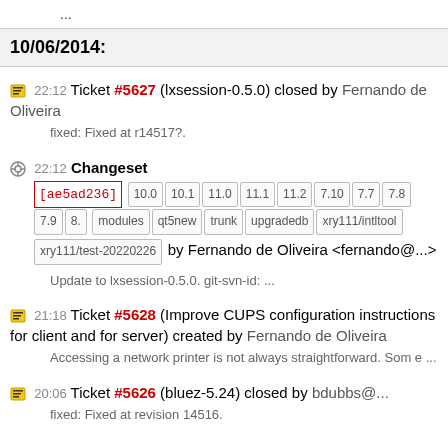...
10/06/2014:
22:12 Ticket #5627 (lxsession-0.5.0) closed by Fernando de Oliveira
fixed: Fixed at r14517?.
22:12 Changeset [ae5ad236] 10.0 10.1 11.0 11.1 11.2 7.10 7.7 7.8 7.9 8. modules qt5new trunk upgradedb xry111/intltool xry111/test-20220226 by Fernando de Oliveira <fernando@...>
Update to lxsession-0.5.0. git-svn-id: ...
21:18 Ticket #5628 (Improve CUPS configuration instructions for client and for server) created by Fernando de Oliveira
Accessing a network printer is not always straightforward. Som e ...
20:06 Ticket #5626 (bluez-5.24) closed by bdubbs@...
fixed: Fixed at revision 14516.